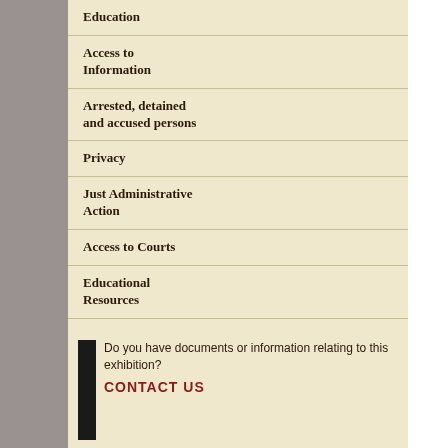Education
Access to Information
Arrested, detained and accused persons
Privacy
Just Administrative Action
Access to Courts
Educational Resources
GALLERY
LIBRARY
LINKS
COPYRIGHT
Do you have documents or information relating to this exhibition? CONTACT US